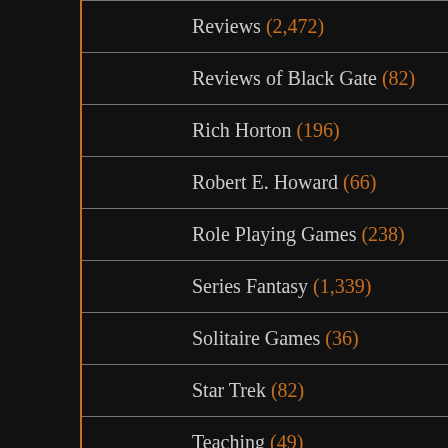Reviews (2,472)
Reviews of Black Gate (82)
Rich Horton (196)
Robert E. Howard (66)
Role Playing Games (238)
Series Fantasy (1,339)
Solitaire Games (36)
Star Trek (82)
Teaching (49)
Teaching and Fantasy Literature (51)